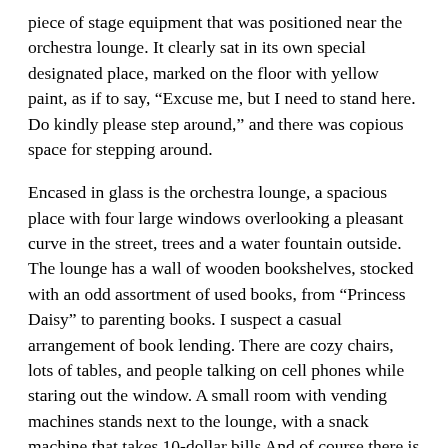piece of stage equipment that was positioned near the orchestra lounge. It clearly sat in its own special designated place, marked on the floor with yellow paint, as if to say, “Excuse me, but I need to stand here. Do kindly please step around,” and there was copious space for stepping around.
Encased in glass is the orchestra lounge, a spacious place with four large windows overlooking a pleasant curve in the street, trees and a water fountain outside. The lounge has a wall of wooden bookshelves, stocked with an odd assortment of used books, from “Princess Daisy” to parenting books. I suspect a casual arrangement of book lending. There are cozy chairs, lots of tables, and people talking on cell phones while staring out the window. A small room with vending machines stands next to the lounge, with a snack machine that takes 10-dollar bills And of course there is a water cooler, along with about 25 huge water jugs in reserve.
Through heavy doors is an inner area that is closer to stage, where people set their instruments. I noticed, along the back wall of this